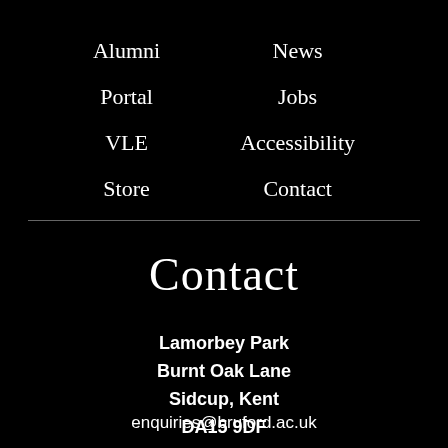Alumni
News
Portal
Jobs
VLE
Accessibility
Store
Contact
Contact
Lamorbey Park
Burnt Oak Lane
Sidcup, Kent
DA15 9DF
enquiries@bruford.ac.uk